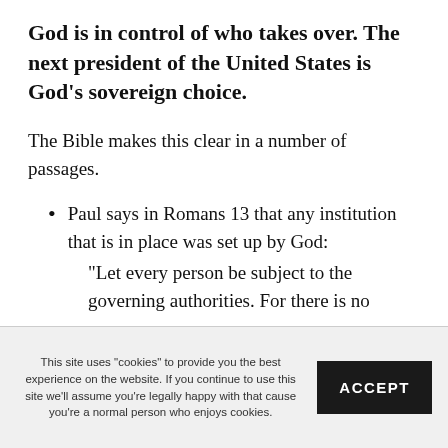God is in control of who takes over. The next president of the United States is God’s sovereign choice.
The Bible makes this clear in a number of passages.
Paul says in Romans 13 that any institution that is in place was set up by God:
“Let every person be subject to the governing authorities. For there is no
This site uses "cookies" to provide you the best experience on the website. If you continue to use this site we’ll assume you’re legally happy with that cause you’re a normal person who enjoys cookies.